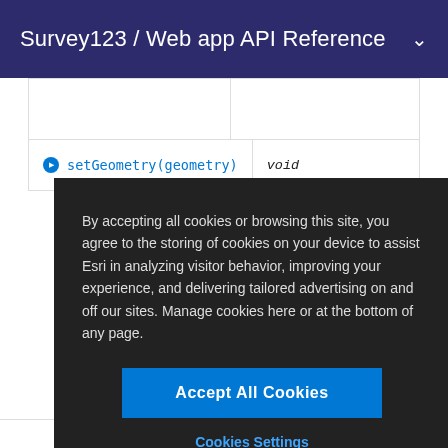Survey123 / Web app API Reference
| Method | Returns |
| --- | --- |
|  |  |
| setGeometry(geometry) | void |
By accepting all cookies or browsing this site, you agree to the storing of cookies on your device to assist Esri in analyzing visitor behavior, improving your experience, and delivering tailored advertising on and off our sites. Manage cookies here or at the bottom of any page.
Accept All Cookies
Cookies Settings